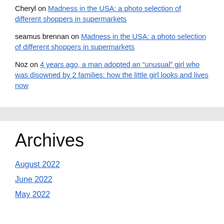Cheryl on Madness in the USA: a photo selection of different shoppers in supermarkets
seamus brennan on Madness in the USA: a photo selection of different shoppers in supermarkets
Noz on 4 years ago, a man adopted an “unusual” girl who was disowned by 2 families: how the little girl looks and lives now
Archives
August 2022
June 2022
May 2022